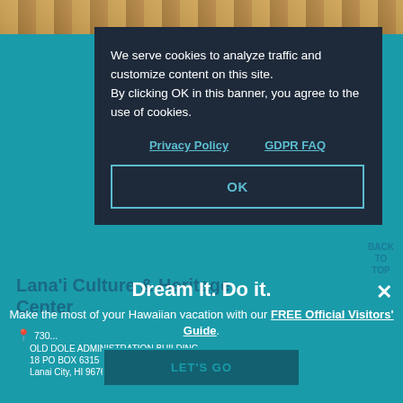[Figure (photo): Top strip showing interior of a shop or heritage center with warm tones]
We serve cookies to analyze traffic and customize content on this site.
By clicking OK in this banner, you agree to the use of cookies.
Privacy Policy    GDPR FAQ
OK
BACK TO TOP
Lana'i Culture & Heritage Center
730...
OLD DOLE ADMINISTRATION BUILDING
18 PO BOX 6315
Lanai City, HI 96763
Dream It. Do it.
Make the most of your Hawaiian vacation with our FREE Official Visitors' Guide.
LET'S GO